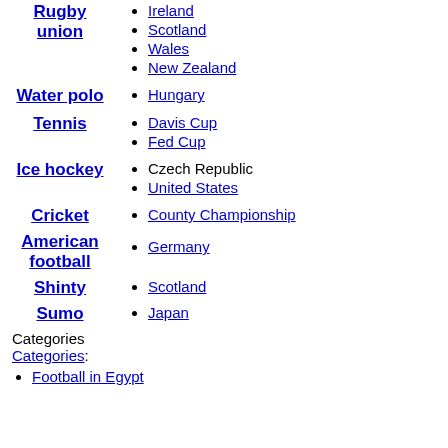Scotland
Wales
New Zealand
Water polo
Hungary
Tennis
Davis Cup
Fed Cup
Ice hockey
Czech Republic
United States
Cricket
County Championship
American football
Germany
Shinty
Scotland
Sumo
Japan
Categories
Categories:
Football in Egypt